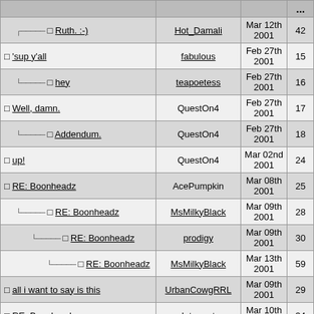| (title) | (author) | (date) | (#) |
| --- | --- | --- | --- |
| Ruth. :-) | Hot_Damali | Mar 12th 2001 | 42 |
| 'sup y'all | fabulous | Feb 27th 2001 | 15 |
| hey | teapoetess | Feb 27th 2001 | 16 |
| Well, damn. | QuestOn4 | Feb 27th 2001 | 17 |
| Addendum. | QuestOn4 | Feb 27th 2001 | 18 |
| up! | QuestOn4 | Mar 02nd 2001 | 24 |
| RE: Boonheadz | AcePumpkin | Mar 08th 2001 | 25 |
| RE: Boonheadz | MsMilkyBlack | Mar 09th 2001 | 28 |
| RE: Boonheadz | prodigy | Mar 09th 2001 | 30 |
| RE: Boonheadz | MsMilkyBlack | Mar 13th 2001 | 59 |
| all i want to say is this | UrbanCowgRRL | Mar 09th 2001 | 29 |
| RE: Boonheadz | Introvert | Mar 10th 2001 | 34 |
| RE: Boonheadz | DaFlashman | Mar 11th 2001 | 37 |
| cosign. | QuestOn4 | Mar 18th 2001 | 73 |
| RE: Boonheadz | (author) | Mar 10th 2001 | ?? |